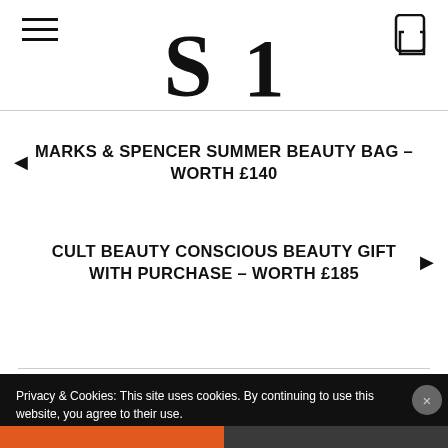S 1
MARKS & SPENCER SUMMER BEAUTY BAG – WORTH £140
CULT BEAUTY CONSCIOUS BEAUTY GIFT WITH PURCHASE – WORTH £185
Privacy & Cookies: This site uses cookies. By continuing to use this website, you agree to their use. To find out more, including how to control cookies, see here: Cookie Policy
Close and accept